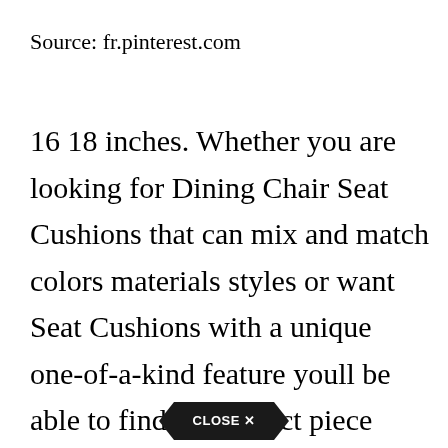Source: fr.pinterest.com
16 18 inches. Whether you are looking for Dining Chair Seat Cushions that can mix and match colors materials styles or want Seat Cushions with a unique one-of-a-kind feature youll be able to find the perfect piece right here. 16 18 inches. The rocking chair cushion set seat measures 19 inch L x 185 inch W x 3 inch H and back measures 205 inch L x 18 inch W x 3 inch H and weighs
[Figure (other): Close button overlay at the bottom of the page with 'CLOSE X' text in a dark hexagonal/arrow shape]